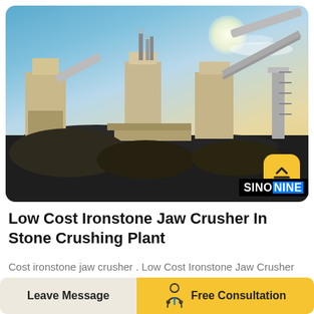[Figure (photo): Industrial stone crushing plant with large silos, conveyor belts, and processing equipment against a blue sky at dusk. SINONINE logo visible in bottom right corner of photo.]
Low Cost Ironstone Jaw Crusher In Stone Crushing Plant
Cost ironstone jaw crusher . Low Cost Ironstone Jaw Crusher In Stone Crushing Plant 2018 8
Leave Message   Free Consultation